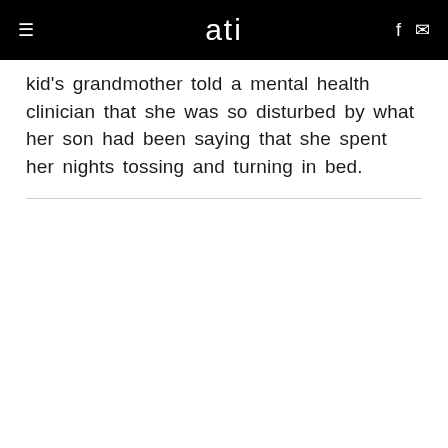ati
kid's grandmother told a mental health clinician that she was so disturbed by what her son had been saying that she spent her nights tossing and turning in bed.